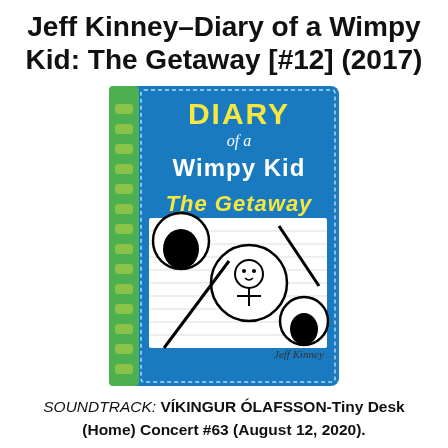Jeff Kinney–Diary of a Wimpy Kid: The Getaway [#12] (2017)
[Figure (photo): Book cover of 'Diary of a Wimpy Kid: The Getaway' by Jeff Kinney. Blue cover with green spiral binding on left. Title text: 'DIARY of a Wimpy Kid THE GETAWAY' with cartoon illustrations including silhouettes and a character in a circle. Author name 'Jeff Kinney' at bottom.]
SOUNDTRACK: VÍKINGUR ÓLAFSSON-Tiny Desk (Home) Concert #63 (August 12, 2020).